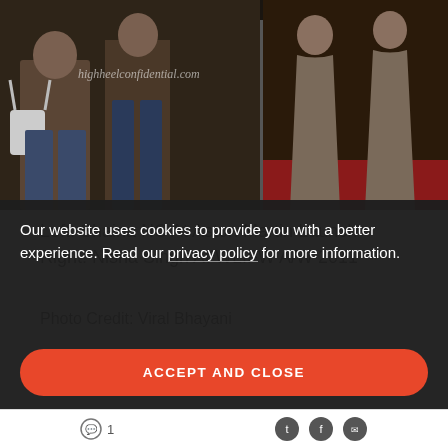[Figure (photo): Photo collage: Left side shows women in casual/patterned outfits at Aston Martin launch; right side shows women in long brown/grey draped gowns on red carpet at WLIFW A/W 2011. Watermark reads highheelconfidential.com]
Left: Shaina NC At Aston Martin Launch
Right: Nisha Singh At WLIFW A/W 2011
Photo Credit: Viral Bhayani
Our website uses cookies to provide you with a better experience. Read our privacy policy for more information.
ACCEPT AND CLOSE